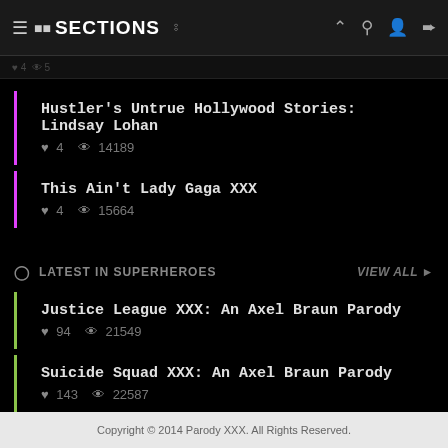SECTIONS
Hustler's Untrue Hollywood Stories: Lindsay Lohan | ♥ 4 | 14189
This Ain't Lady Gaga XXX | ♥ 4 | 15664
LATEST IN SUPERHEROES | VIEW ALL
Justice League XXX: An Axel Braun Parody | ♥ 94 | 21549
Suicide Squad XXX: An Axel Braun Parody | ♥ 143 | 22587
Supergirl XXX: An Axel Braun Parody | ♥ 75 | 21264
Copyright © 2014 Parody XXX. All Rights Reserved.